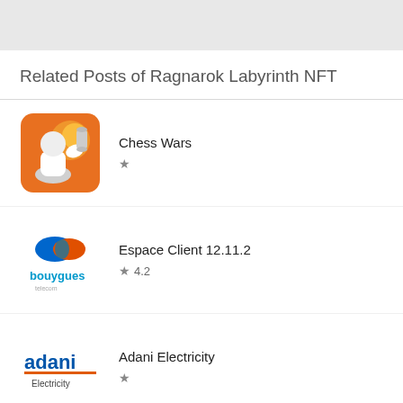Related Posts of Ragnarok Labyrinth NFT
Chess Wars
★
Espace Client 12.11.2
★ 4.2
Adani Electricity
★
Experian - Free Credit Report & FICO® Score
★